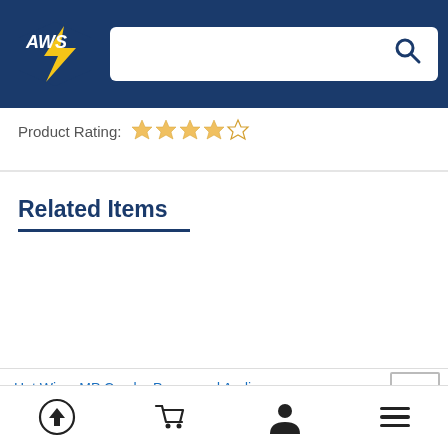[Figure (logo): AWS logo with yellow lightning bolt and blue text on dark blue header background]
Product Rating: ★★★★☆
Related Items
Hot Wires MP Combo Power and Audio Replacement Speaker XLR Cable
[Figure (screenshot): Bottom navigation bar with upload/back icon, shopping cart icon, user/account icon, and hamburger menu icon]